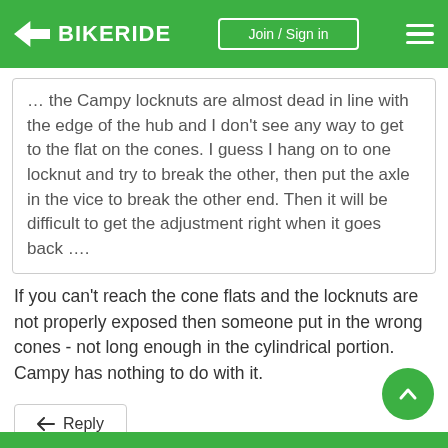BIKERIDE | Join / Sign in
… the Campy locknuts are almost dead in line with the edge of the hub and I don't see any way to get to the flat on the cones. I guess I hang on to one locknut and try to break the other, then put the axle in the vice to break the other end. Then it will be difficult to get the adjustment right when it goes back ….
If you can't reach the cone flats and the locknuts are not properly exposed then someone put in the wrong cones - not long enough in the cylindrical portion. Campy has nothing to do with it.
Reply